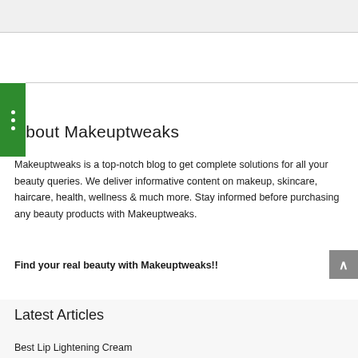About Makeuptweaks
Makeuptweaks is a top-notch blog to get complete solutions for all your beauty queries. We deliver informative content on makeup, skincare, haircare, health, wellness & much more. Stay informed before purchasing any beauty products with Makeuptweaks.
Find your real beauty with Makeuptweaks!!
Latest Articles
Best Lip Lightening Cream